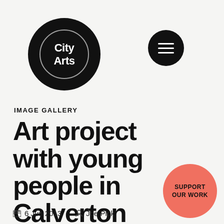[Figure (logo): City Arts logo - white text inside a circle outline on a black circular background]
[Figure (other): Hamburger menu icon - three horizontal white lines on a black circle]
IMAGE GALLERY
Art project with young people in Calverton
[Figure (other): Salmon/coral colored circle button with text SUPPORT OUR WORK]
6 Jun 2013   Joe Pick